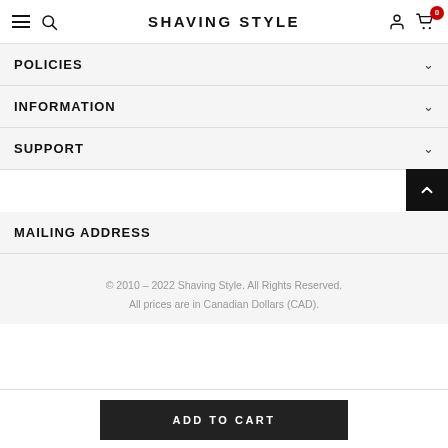SHAVING STYLE
POLICIES
INFORMATION
SUPPORT
MAILING ADDRESS
© 2010 – 2022 Shaving Style. All Rights Reserved. All prices are in Canadian Dollars (CAD).
ADD TO CART